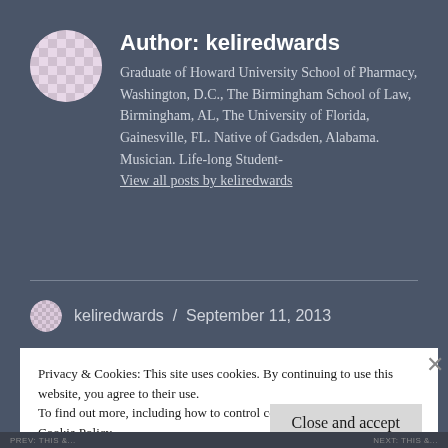Author: keliredwards
Graduate of Howard University School of Pharmacy, Washington, D.C., The Birmingham School of Law, Birmingham, AL, The University of Florida, Gainesville, FL. Native of Gadsden, Alabama. Musician. Life-long Student-
View all posts by keliredwards
keliredwards / September 11, 2013
Privacy & Cookies: This site uses cookies. By continuing to use this website, you agree to their use.
To find out more, including how to control cookies, see here: Cookie Policy
Close and accept